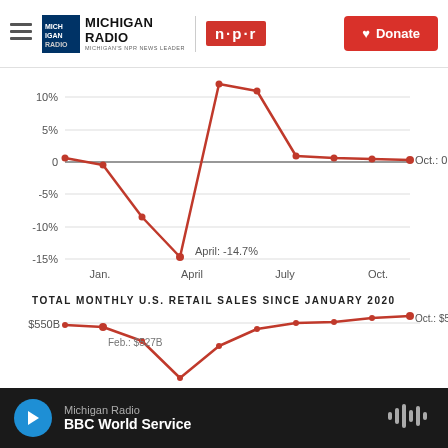Michigan Radio — NPR | Donate
[Figure (line-chart): Month-over-month change in U.S. retail sales]
TOTAL MONTHLY U.S. RETAIL SALES SINCE JANUARY 2020
[Figure (line-chart): Total Monthly U.S. Retail Sales Since January 2020]
Michigan Radio | BBC World Service